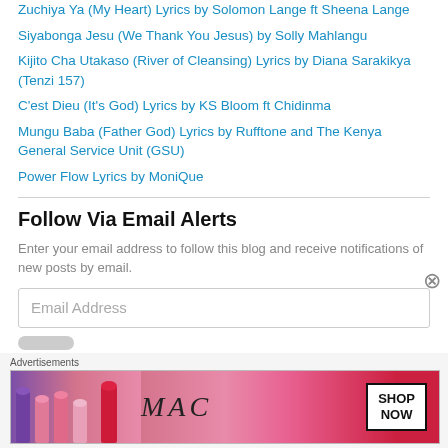Zuchiya Ya (My Heart) Lyrics by Solomon Lange ft Sheena Lange
Siyabonga Jesu (We Thank You Jesus) by Solly Mahlangu
Kijito Cha Utakaso (River of Cleansing) Lyrics by Diana Sarakikya (Tenzi 157)
C'est Dieu (It's God) Lyrics by KS Bloom ft Chidinma
Mungu Baba (Father God) Lyrics by Rufftone and The Kenya General Service Unit (GSU)
Power Flow Lyrics by MoniQue
Follow Via Email Alerts
Enter your email address to follow this blog and receive notifications of new posts by email.
[Figure (other): Email address input field with placeholder text 'Email Address']
[Figure (other): MAC cosmetics advertisement banner with lipsticks and SHOP NOW box]